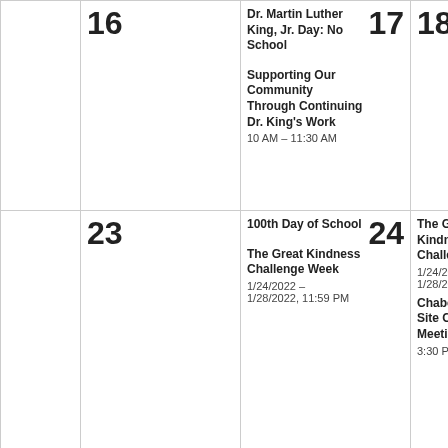|  | 16 | Dr. Martin Luther King, Jr. Day: No School | Supporting Our Community Through Continuing Dr. King's Work 10 AM – 11:30 AM | 17 | 18 |  |
|  | 23 | 100th Day of School | The Great Kindness Challenge Week 1/24/2022 – 1/28/2022, 11:59 PM | 24 | The Great Kindness Challenge Week 1/24/2022 – 1/28/2022, 11:59 PM | Chabot School Site Council Meeting 3:30 PM – 4:30 PM | 25 | The Great Kindness Challen... 1/24/2022 – 1/28/2022 |